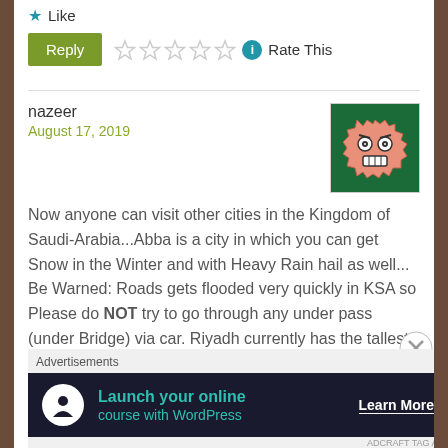Like
[Figure (other): Star rating widget with 5 empty stars, info icon, and Rate This label, plus a green Reply button]
nazeer
August 17, 2019
[Figure (illustration): Avatar: angry gear/cog face emoji on dark green background]
Now anyone can visit other cities in the Kingdom of Saudi-Arabia...Abba is a city in which you can get Snow in the Winter and with Heavy Rain hail as well... Be Warned: Roads gets flooded very quickly in KSA so Please do NOT try to go through any under pass (under Bridge) via car. Riyadh currently has the tallest Building of KSA owns by Prince Talal
Advertisements
[Figure (infographic): Dark banner ad: Launch your online course with WordPress - Learn More button, with a tree/person icon on white circle]